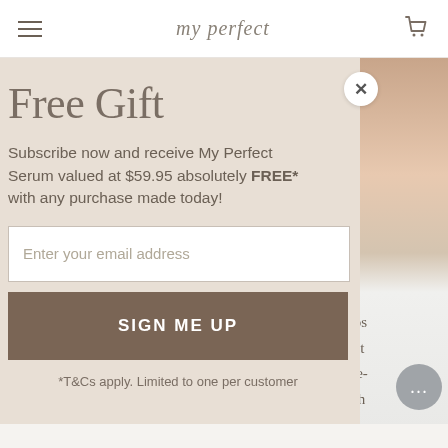my perfect
Free Gift
Subscribe now and receive My Perfect Serum valued at $59.95 absolutely FREE* with any purchase made today!
Enter your email address
SIGN ME UP
*T&Cs apply. Limited to one per customer